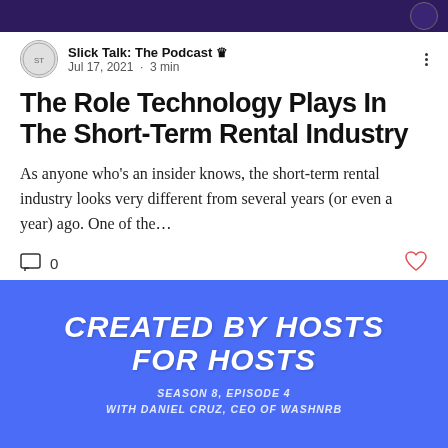Slick Talk: The Podcast — top bar
Slick Talk: The Podcast 👑
Jul 17, 2021  ·  3 min
The Role Technology Plays In The Short-Term Rental Industry
As anyone who's an insider knows, the short-term rental industry looks very different from several years (or even a year) ago. One of the...
0 comments, like button
[Figure (infographic): Blue promotional banner reading 'CREATED BY HOSTS FOR HOSTS' with subtitle 'SEASON 8, EPISODE 4 WITH DANIEL CRUZ, CEO OF WASHNRB']